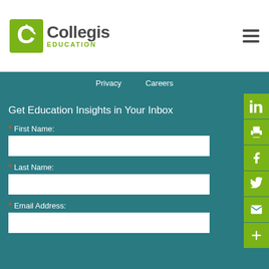[Figure (logo): Collegis Education logo with green circular C icon and text 'Collegis EDUCATION']
Privacy   Careers
Get Education Insights in Your Inbox
* First Name:
* Last Name:
* Email Address:
SUBSCRIBE